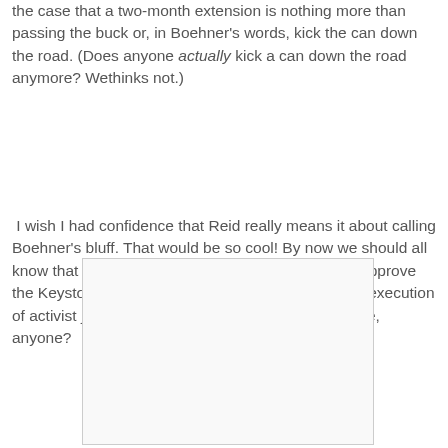the case that a two-month extension is nothing more than passing the buck or, in Boehner's words, kick the can down the road. (Does anyone actually kick a can down the road anymore? Wethinks not.)
I wish I had confidence that Reid really means it about calling Boehner's bluff. That would be so cool! By now we should all know that to get it passed, the Dems will cave and approve the Keystone XL pipeline and legalize the summary execution of activist judges (only the liberal ones). Compromise, anyone?
[Figure (other): A blank or placeholder image box with light border]